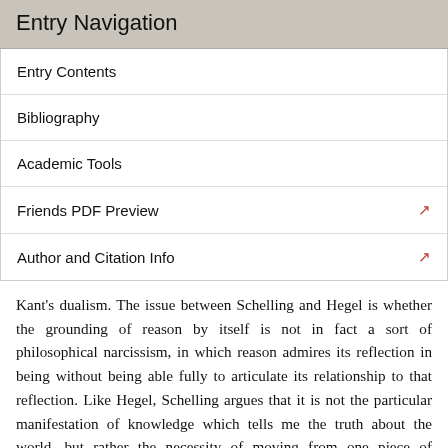Entry Navigation
Entry Contents
Bibliography
Academic Tools
Friends PDF Preview
Author and Citation Info
Kant's dualism. The issue between Schelling and Hegel is whether the grounding of reason by itself is not in fact a sort of philosophical narcissism, in which reason admires its reflection in being without being able fully to articulate its relationship to that reflection. Like Hegel, Schelling argues that it is not the particular manifestation of knowledge which tells me the truth about the world, but rather the necessity of moving from one piece of knowledge to the next. However, a logical reconstruction of the process of knowledge can, for Schelling, only be a reflection of thought by itself. The real process cannot be